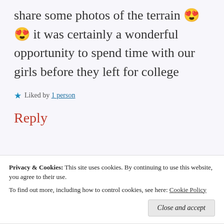share some photos of the terrain 😍😍 it was certainly a wonderful opportunity to spend time with our girls before they left for college
Liked by 1 person
Reply
Advertisements
Privacy & Cookies: This site uses cookies. By continuing to use this website, you agree to their use.
To find out more, including how to control cookies, see here: Cookie Policy
Close and accept